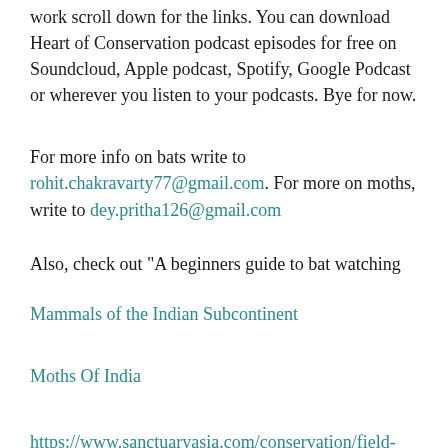work scroll down for the links. You can download Heart of Conservation podcast episodes for free on Soundcloud, Apple podcast, Spotify, Google Podcast or wherever you listen to your podcasts. Bye for now.
For more info on bats write to rohit.chakravarty77@gmail.com. For more on moths, write to dey.pritha126@gmail.com
Also, check out "A beginners guide to bat watching
Mammals of the Indian Subcontinent
Moths Of India
https://www.sanctuaryasia.com/conservation/field-